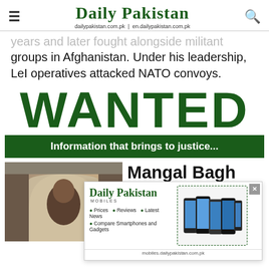Daily Pakistan — dailypakistan.com.pk | en.dailypakistan.com.pk
years and later fought alongside militant groups in Afghanistan. Under his leadership, LeI operatives attacked NATO convoys.
[Figure (infographic): WANTED poster with large green text 'WANTED' and a dark green banner below reading 'Information that brings to justice...']
[Figure (photo): Photo of Mangal Bagh, a man visible through an arched stone doorway]
Mangal Bagh
Mangal Bagh is the leader of ... militant ... Tahrik-e- ... His ... from drug
[Figure (screenshot): Daily Pakistan Mobiles advertisement overlay showing logo, features (Prices, Reviews, Latest News, Compare Smartphones and Gadgets) and phone images, with URL mobiles.dailypakistan.com.pk]